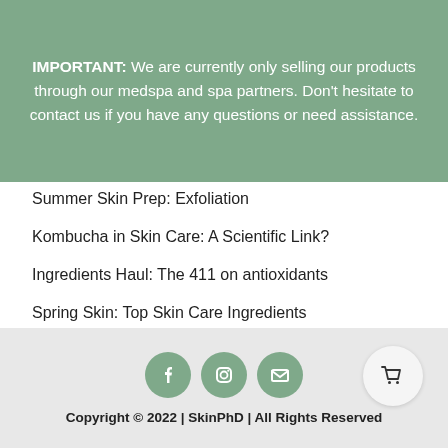IMPORTANT: We are currently only selling our products through our medspa and spa partners. Don't hesitate to contact us if you have any questions or need assistance.
Summer Skin Prep: Exfoliation
Kombucha in Skin Care: A Scientific Link?
Ingredients Haul: The 411 on antioxidants
Spring Skin: Top Skin Care Ingredients
Mineral Hematite for Fabulous Holiday Glam Skin
Copyright © 2022 | SkinPhD | All Rights Reserved